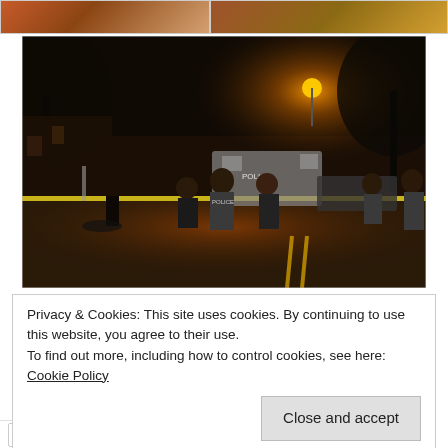[Figure (photo): Top-left partial photo showing warm brownish-orange tones, appears to be a partial image cut off at the top of the page]
[Figure (photo): Top-right partial photo showing warm orange/brown tones, appears to be a partial image cut off at the top of the page]
[Figure (photo): Night-time street scene showing a police crime scene with yellow tape, police officers, bystanders, and vehicles on an urban street lit by an orange street lamp]
Privacy & Cookies: This site uses cookies. By continuing to use this website, you agree to their use.
To find out more, including how to control cookies, see here: Cookie Policy
Close and accept
Twitter  Facebook